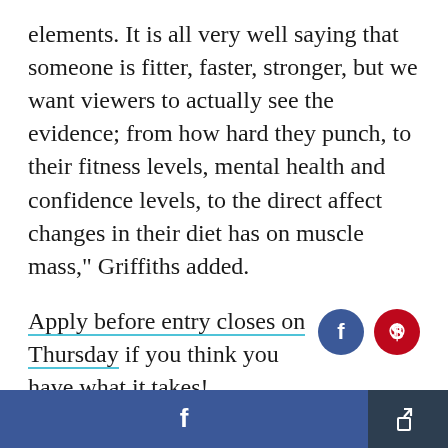elements. It is all very well saying that someone is fitter, faster, stronger, but we want viewers to actually see the evidence; from how hard they punch, to their fitness levels, mental health and confidence levels, to the direct affect changes in their diet has on muscle mass," Griffiths added.
Apply before entry closes on Thursday if you think you have what it takes!
[Figure (other): Footer bar with Facebook share button (blue) and a generic share button (dark blue)]